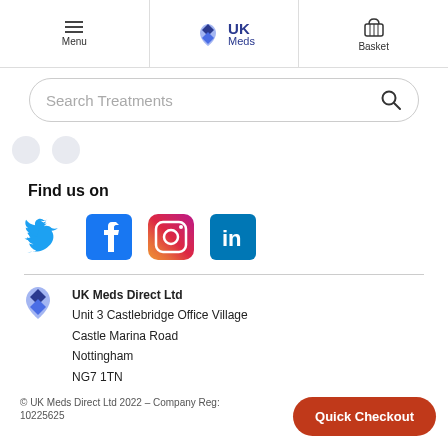Menu | UK Meds | Basket
Search Treatments
Find us on
[Figure (logo): Social media icons: Twitter, Facebook, Instagram, LinkedIn]
UK Meds Direct Ltd
Unit 3 Castlebridge Office Village
Castle Marina Road
Nottingham
NG7 1TN
© UK Meds Direct Ltd 2022 – Company Reg: 10225625